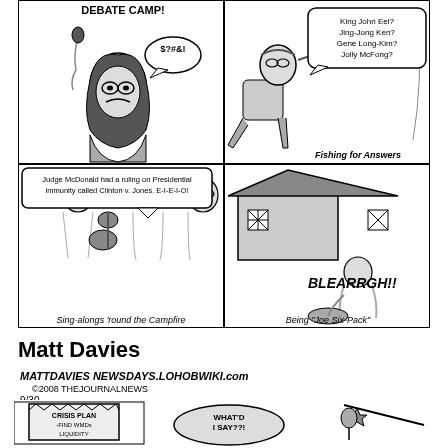[Figure (illustration): A four-panel political cartoon. Top-left panel: woman with glasses holding a microphone saying '$?#&!' with text 'DEBATE CAMP!' at top. Top-right panel: man fishing with speech bubble 'King John Eel? Jing-Jong Ken? Gene Long-Kim? Jolly McFong?' labeled 'Fishing for Answers'. Bottom-left panel: three people sitting around campfire with guitar, speech bubble 'Judge McDonald had a ruling on Presidential immunity called Clinton v. Jones. E-I-E-I-O!' labeled 'Sing-alongs round the Campfire'. Bottom-right panel: figure vomiting outside a cabin with text 'BLEARRGH!!' labeled 'Being Joe Six-Pack'.]
Matt Davies
[Figure (illustration): Matt Davies signature/logo with text 'MATTDAVIES NEWSDAYS.LOHOBWIKI.com ©2008 THEJOURNALNEWS' and date '9/30']
[Figure (illustration): Three small cartoon panels at the bottom: left panel shows a sign reading 'CRISIS PLAN -FIND WMDs LIQUIDITY'; center panel shows a rock with speech bubble 'WHAT'D I SAY??!'; right panel shows a small figure with a star-shaped object.]